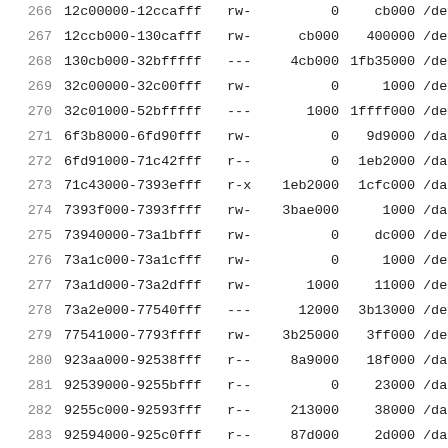| # | Address Range | Perm | Offset1 | Offset2 | Dev |
| --- | --- | --- | --- | --- | --- |
| 266 | 12c00000-12ccafff | rw- | 0 | cb000 | /dev |
| 267 | 12ccb000-130cafff | rw- | cb000 | 400000 | /dev |
| 268 | 130cb000-32bfffff | --- | 4cb000 | 1fb35000 | /dev |
| 269 | 32c00000-32c00fff | rw- | 0 | 1000 | /dev |
| 270 | 32c01000-52bfffff | --- | 1000 | 1ffff000 | /dev |
| 271 | 6f3b8000-6fd90fff | rw- | 0 | 9d9000 | /data |
| 272 | 6fd91000-71c42fff | r-- | 0 | 1eb2000 | /data |
| 273 | 71c43000-7393efff | r-x | 1eb2000 | 1cfc000 | /data |
| 274 | 7393f000-7393ffff | rw- | 3bae000 | 1000 | /data |
| 275 | 73940000-73a1bfff | rw- | 0 | dc000 | /dev |
| 276 | 73a1c000-73a1cfff | rw- | 0 | 1000 | /dev |
| 277 | 73a1d000-73a2dfff | rw- | 1000 | 11000 | /dev |
| 278 | 73a2e000-77540fff | --- | 12000 | 3b13000 | /dev |
| 279 | 77541000-7793ffff | rw- | 3b25000 | 3ff000 | /dev |
| 280 | 923aa000-92538fff | r-- | 8a9000 | 18f000 | /data |
| 281 | 92539000-9255bfff | r-- | 0 | 23000 | /data |
| 282 | 9255c000-92593fff | r-- | 213000 | 38000 | /data |
| 283 | 92594000-925c0fff | r-- | 87d000 | 2d000 | /data |
| 284 | 925c1000-927d3fff | r-- | a37000 | 213000 | /data |
| 285 | 927d4000-92e07fff | r-- | 24a000 | 634000 | /data |
| 286 | 92e08000-92e37fff | r-- | a931000 | 30000 | /data |